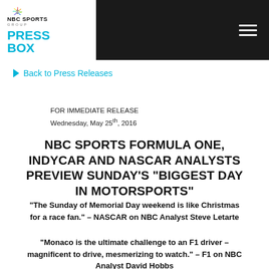NBC SPORTS GROUP PRESS BOX
Back to Press Releases
FOR IMMEDIATE RELEASE
Wednesday, May 25th, 2016
NBC SPORTS FORMULA ONE, INDYCAR AND NASCAR ANALYSTS PREVIEW SUNDAY'S “BIGGEST DAY IN MOTORSPORTS”
“The Sunday of Memorial Day weekend is like Christmas for a race fan.” – NASCAR on NBC Analyst Steve Letarte
“Monaco is the ultimate challenge to an F1 driver – magnificent to drive, mesmerizing to watch.” – F1 on NBC Analyst David Hobbs